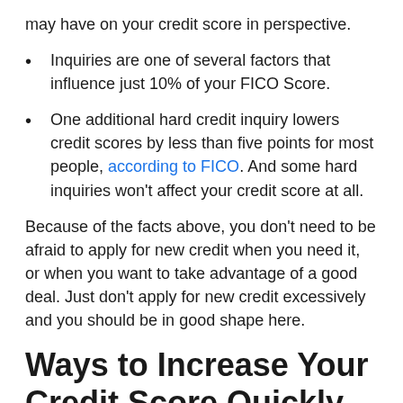may have on your credit score in perspective.
Inquiries are one of several factors that influence just 10% of your FICO Score.
One additional hard credit inquiry lowers credit scores by less than five points for most people, according to FICO. And some hard inquiries won't affect your credit score at all.
Because of the facts above, you don't need to be afraid to apply for new credit when you need it, or when you want to take advantage of a good deal. Just don't apply for new credit excessively and you should be in good shape here.
Ways to Increase Your Credit Score Quickly